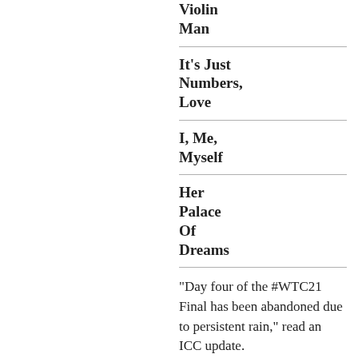Violin Man
It's Just Numbers, Love
I, Me, Myself
Her Palace Of Dreams
"Day four of the #WTC21 Final has been abandoned due to persistent rain," read an ICC update.